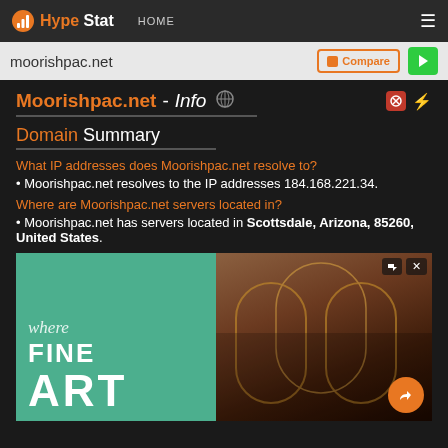HypeStat HOME
moorishpac.net
Moorishpac.net - Info
Domain Summary
What IP addresses does Moorishpac.net resolve to?
• Moorishpac.net resolves to the IP addresses 184.168.221.34.
Where are Moorishpac.net servers located in?
• Moorishpac.net has servers located in Scottsdale, Arizona, 85260, United States.
[Figure (advertisement): Advertisement banner showing 'where FINE ART' text on teal background with image of ornate interior on right side]